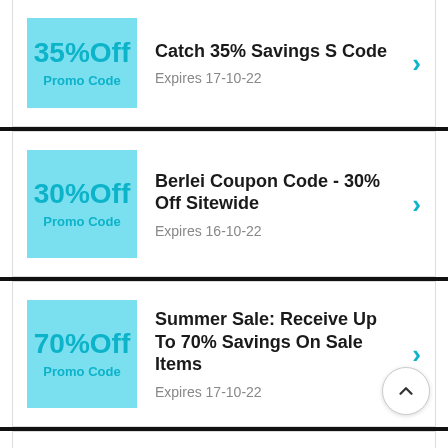[Figure (infographic): Coupon card: 35% Off Promo Code badge, title 'Catch 35% Savings S Code', expires 17-10-22]
[Figure (infographic): Coupon card: 30% Off Promo Code badge, title 'Berlei Coupon Code - 30% Off Sitewide', expires 16-10-22]
[Figure (infographic): Coupon card: 70% Off Promo Code badge, title 'Summer Sale: Receive Up To 70% Savings On Sale Items', expires 17-10-22]
[Figure (infographic): Partial coupon card: badge partially visible, title 'Its Golden Time You Cannot']